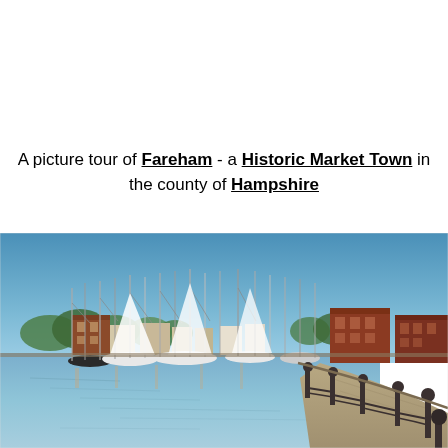A picture tour of Fareham - a Historic Market Town in the county of Hampshire
[Figure (photo): Panoramic waterfront view of Fareham, showing a marina with sailboats and small vessels reflected in calm blue water, red-brick historic buildings along the quayside, trees in the background, and a curved promenade with decorative iron bollards and railings in the foreground right.]